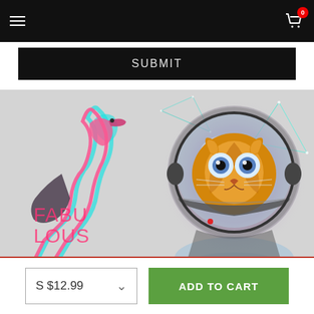Navigation bar with hamburger menu and shopping cart with badge 0
SUBMIT
[Figure (illustration): Two illustrations side by side on a light gray background: left side shows a glitchy-style flamingo in pink and cyan with text 'FABULOUS' in pink; right side shows an orange tabby cat wearing an astronaut helmet in space with galaxy and geometric triangle elements]
S $12.99
ADD TO CART